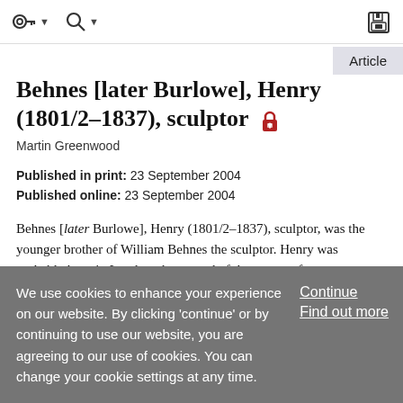Toolbar with navigation icons and save button
Behnes [later Burlowe], Henry (1801/2–1837), sculptor
Martin Greenwood
Published in print: 23 September 2004
Published online: 23 September 2004
Behnes [later Burlowe], Henry (1801/2–1837), sculptor, was the younger brother of William Behnes the sculptor. Henry was probably born in London, the second of three sons of a
We use cookies to enhance your experience on our website. By clicking 'continue' or by continuing to use our website, you are agreeing to our use of cookies. You can change your cookie settings at any time.